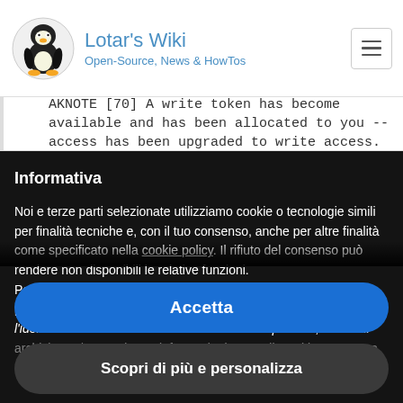Lotar's Wiki — Open-Source, News & HowTos
AKNOTE [70] A write token has become available and has been allocated to you -- access has been upgraded to write access.
Informativa
Noi e terze parti selezionate utilizziamo cookie o tecnologie simili per finalità tecniche e, con il tuo consenso, anche per altre finalità come specificato nella cookie policy. Il rifiuto del consenso può rendere non disponibili le relative funzioni.
Per quanto riguarda la pubblicità, noi e terze parti selezionate, potremmo utilizzare dati di geolocalizzazione precisi e l'identificazione attraverso la scansione del dispositivo, al fine di archiviare e/o accedere a informazioni su un dispositivo e trattare
Accetta
Scopri di più e personalizza